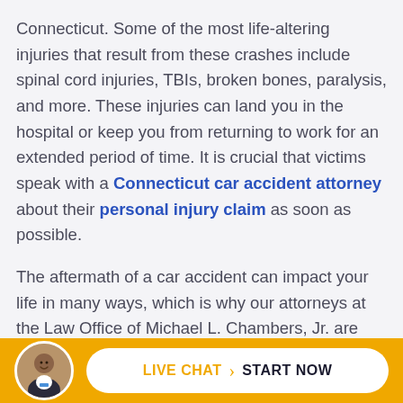Connecticut. Some of the most life-altering injuries that result from these crashes include spinal cord injuries, TBIs, broken bones, paralysis, and more. These injuries can land you in the hospital or keep you from returning to work for an extended period of time. It is crucial that victims speak with a Connecticut car accident attorney about their personal injury claim as soon as possible.
The aftermath of a car accident can impact your life in many ways, which is why our attorneys at the Law Office of Michael L. Chambers, Jr. are here to assist you. We believe that you have every right to hold a party
[Figure (photo): Circular avatar photo of a smiling man in a suit with bow tie]
LIVE CHAT > START NOW